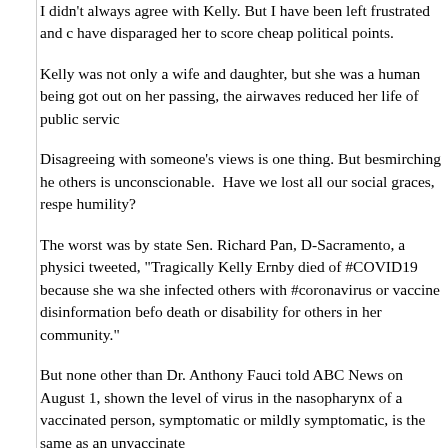I didn't always agree with Kelly. But I have been left frustrated and have disparaged her to score cheap political points.
Kelly was not only a wife and daughter, but she was a human being got out on her passing, the airwaves reduced her life of public servic
Disagreeing with someone's views is one thing. But besmirching he others is unconscionable.  Have we lost all our social graces, respe humility?
The worst was by state Sen. Richard Pan, D-Sacramento, a physici tweeted, "Tragically Kelly Ernby died of #COVID19 because she wa she infected others with #coronavirus or vaccine disinformation bef death or disability for others in her community."
But none other than Dr. Anthony Fauci told ABC News on August 1, shown the level of virus in the nasopharynx of a vaccinated person, symptomatic or mildly symptomatic, is the same as an unvaccinate
Then there's' the Goldwater Rule, under which it's unethical for phys on the health of politicians not their patients. Pan was not her physio her and only was going by media reports. His statement went well b situation.
Ernby's views were like many of those within the Republican Party, should determine the direction of your individual lifestyle, including,